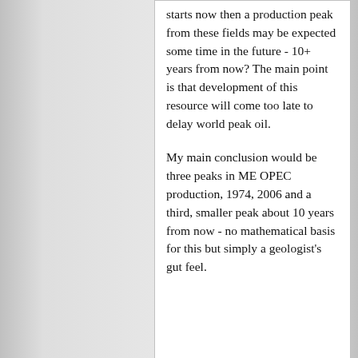starts now then a production peak from these fields may be expected some time in the future - 10+ years from now?  The main point is that development of this resource will come too late to delay world peak oil.
My main conclusion would be three peaks in ME OPEC production, 1974, 2006 and a third, smaller peak about 10 years from now - no mathematical basis for this but simply a geologist's gut feel.
Links to tutorial material on Hubbert